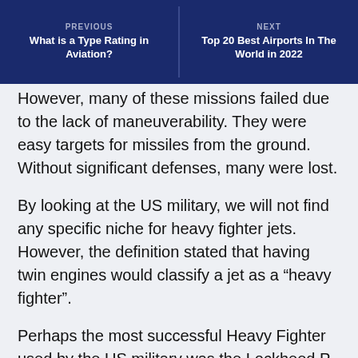PREVIOUS
What is a Type Rating in Aviation?
NEXT
Top 20 Best Airports In The World in 2022
However, many of these missions failed due to the lack of maneuverability. They were easy targets for missiles from the ground. Without significant defenses, many were lost.
By looking at the US military, we will not find any specific niche for heavy fighter jets. However, the definition stated that having twin engines would classify a jet as a “heavy fighter”.
Perhaps the most successful Heavy Fighter used by the US military was the Lockheed P-38 Lightning, which saw significant service during all theaters of WWII and the Korean War.